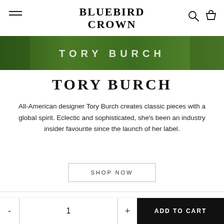BLUEBIRD CROWN
[Figure (photo): Tory Burch storefront with green ivy-covered exterior and 'TORY BURCH' text signage]
TORY BURCH
All-American designer Tory Burch creates classic pieces with a global spirit. Eclectic and sophisticated, she's been an industry insider favourite since the launch of her label.
SHOP NOW
Search
Blog